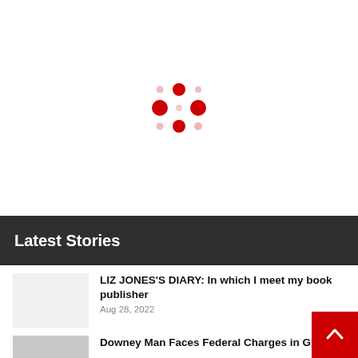[Figure (logo): Loading spinner or logo made of red dots in a 3x3 grid pattern with varying sizes, centered in the upper white area of the page]
Latest Stories
LIZ JONES'S DIARY: In which I meet my book publisher
Aug 28, 2022
Downey Man Faces Federal Charges in Girl's